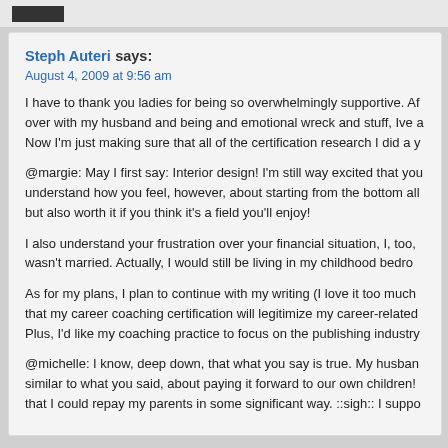Steph Auteri says:
August 4, 2009 at 9:56 am
I have to thank you ladies for being so overwhelmingly supportive. Af over with my husband and being and emotional wreck and stuff, Ive a Now I'm just making sure that all of the certification research I did a y
@margie: May I first say: Interior design! I'm still way excited that you understand how you feel, however, about starting from the bottom all but also worth it if you think it's a field you'll enjoy!
I also understand your frustration over your financial situation, I, too, wasn't married. Actually, I would still be living in my childhood bedro
As for my plans, I plan to continue with my writing (I love it too much that my career coaching certification will legitimize my career-related Plus, I'd like my coaching practice to focus on the publishing industry
@michelle: I know, deep down, that what you say is true. My husban similar to what you said, about paying it forward to our own children! that I could repay my parents in some significant way. ::sigh:: I suppo